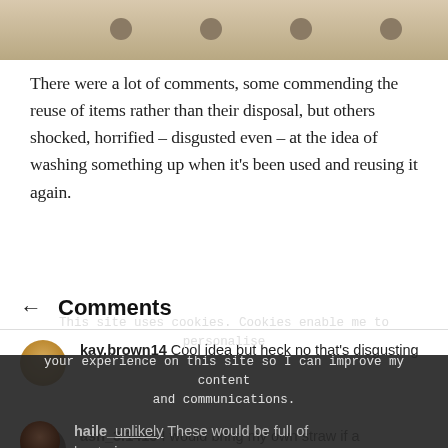[Figure (photo): Top portion of a photo showing a wooden surface with holes, partially cropped]
There were a lot of comments, some commending the reuse of items rather than their disposal, but others shocked, horrified – disgusted even – at the idea of washing something up when it's been used and reusing it again.
← Comments
kay.brown14 Cool idea but heck no that's disgusting
This site uses cookies. Cookies enable me to personalise your experience on this site so I can improve my content and communications.
haile_unlikely These would be full of bacteria
I'm okay with that
ash_3.1415 I would bring my own straw if a restaurant had reusable straws